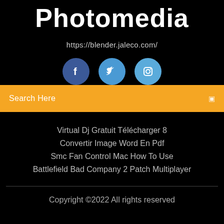Photomedia
https://blender.jaleco.com/
[Figure (illustration): Three social media circular icons: Facebook (dark blue), Twitter (medium blue), Instagram (light blue)]
Search Here
Virtual Dj Gratuit Télécharger 8
Convertir Image Word En Pdf
Smc Fan Control Mac How To Use
Battlefield Bad Company 2 Patch Multiplayer
Copyright ©2022 All rights reserved